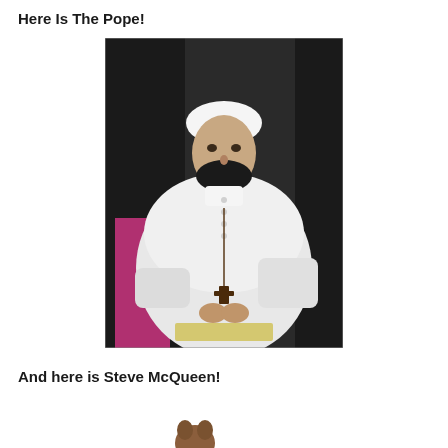Here Is The Pope!
[Figure (photo): Photograph of a man dressed as the Pope in white papal robes and white zucchetto, wearing a cross on a chain, with a dark beard digitally added to his face. Other people in dark clothing are visible in the background.]
And here is Steve McQueen!
[Figure (photo): Partial image at bottom of page, appears to show the top of a small animal or figure, brown in color.]